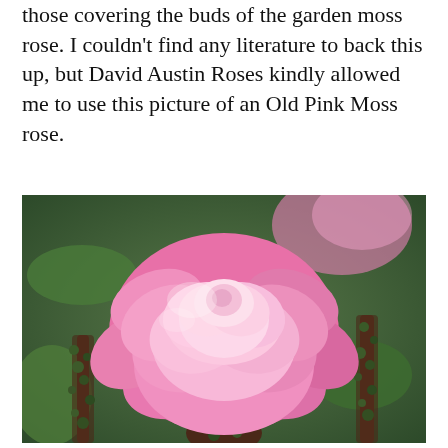those covering the buds of the garden moss rose. I couldn't find any literature to back this up, but David Austin Roses kindly allowed me to use this picture of an Old Pink Moss rose.
[Figure (photo): Close-up photograph of a fully open pink Old Pink Moss rose with mossy buds and stems visible in the background, surrounded by green foliage.]